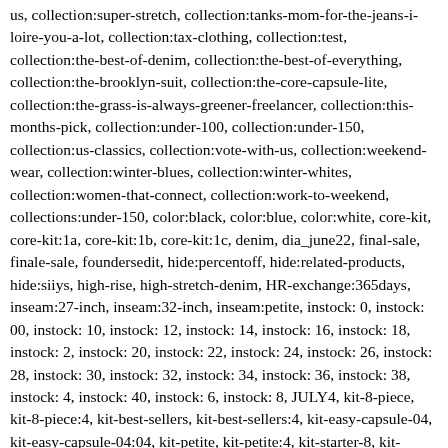us, collection:super-stretch, collection:tanks-mom-for-the-jeans-i-loire-you-a-lot, collection:tax-clothing, collection:test, collection:the-best-of-denim, collection:the-best-of-everything, collection:the-brooklyn-suit, collection:the-core-capsule-lite, collection:the-grass-is-always-greener-freelancer, collection:this-months-pick, collection:under-100, collection:under-150, collection:us-classics, collection:vote-with-us, collection:weekend-wear, collection:winter-blues, collection:winter-whites, collection:women-that-connect, collection:work-to-weekend, collections:under-150, color:black, color:blue, color:white, core-kit, core-kit:1a, core-kit:1b, core-kit:1c, denim, dia_june22, final-sale, finale-sale, foundersedit, hide:percentoff, hide:related-products, hide:siiys, high-rise, high-stretch-denim, HR-exchange:365days, inseam:27-inch, inseam:32-inch, inseam:petite, instock: 0, instock: 00, instock: 10, instock: 12, instock: 14, instock: 16, instock: 18, instock: 2, instock: 20, instock: 22, instock: 24, instock: 26, instock: 28, instock: 30, instock: 32, instock: 34, instock: 36, instock: 38, instock: 4, instock: 40, instock: 6, instock: 8, JULY4, kit-8-piece, kit-8-piece:4, kit-best-sellers, kit-best-sellers:4, kit-easy-capsule-04, kit-easy-capsule-04:04, kit-petite, kit-petite:4, kit-starter-8, kit-starter-8:2, long-inseam, machine-washable, mbp2, mid-rise, mini-core-kit, mini-core-kit:1a, mini-core-kit:1b, moodyblues, no-returns:2022-07-17_2022-08-02, no-returns:2022-07-17_20220-08-02, non-UFL, outfit:jan-outfit-5_item:02, outfit:nbb-3_item:01, outfit:ootm-